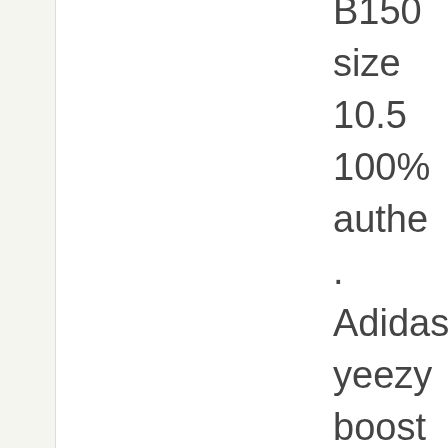B150 size 10.5 100% authe . Adidas yeezy boost 350 V2